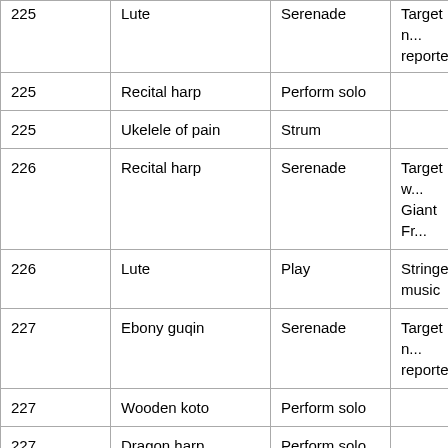| ID | Instrument | Action | Notes |
| --- | --- | --- | --- |
| 225 | Lute (partial) | Serenade | Target n... reported... |
| 225 | Recital harp | Perform solo |  |
| 225 | Ukelele of pain | Strum |  |
| 226 | Recital harp | Serenade | Target w... Giant Fr... |
| 226 | Lute | Play | Stringed music |
| 227 | Ebony guqin | Serenade | Target n... reported... |
| 227 | Wooden koto | Perform solo |  |
| 227 | Dragon harp | Perform solo |  |
| 228 | Recital harp | Play |  |
| 228 | Ukelele of pain | Play |  |
| 228 | Recital harp | Serenade | Target w... imp |